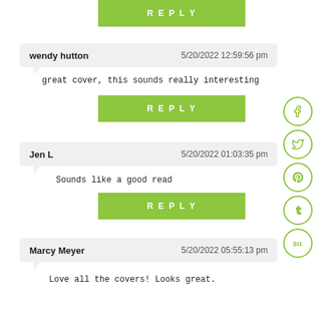[Figure (other): Green REPLY button at top]
wendy hutton   5/20/2022 12:59:56 pm
great cover, this sounds really interesting
[Figure (other): Green REPLY button]
Jen L   5/20/2022 01:03:35 pm
Sounds like a good read
[Figure (other): Green REPLY button]
Marcy Meyer   5/20/2022 05:55:13 pm
Love all the covers! Looks great.
[Figure (other): Social media icons: Facebook, Twitter, Pinterest, Tumblr, StumbleUpon]